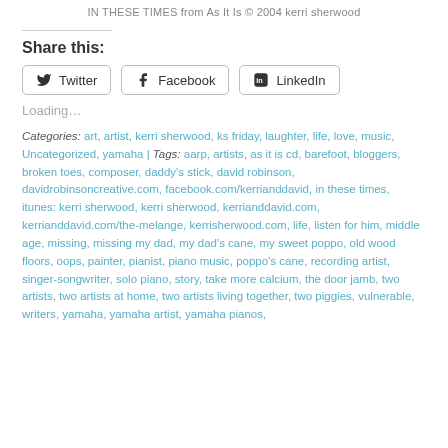IN THESE TIMES from As It Is © 2004 kerri sherwood
Share this:
Twitter  Facebook  LinkedIn
Loading...
Categories: art, artist, kerri sherwood, ks friday, laughter, life, love, music, Uncategorized, yamaha | Tags: aarp, artists, as it is cd, barefoot, bloggers, broken toes, composer, daddy's stick, david robinson, davidrobinsoncreative.com, facebook.com/kerrianddavid, in these times, itunes: kerri sherwood, kerri sherwood, kerrianddavid.com, kerrianddavid.com/the-melange, kerrisherwood.com, life, listen for him, middle age, missing, missing my dad, my dad's cane, my sweet poppo, old wood floors, oops, painter, pianist, piano music, poppo's cane, recording artist, singer-songwriter, solo piano, story, take more calcium, the door jamb, two artists, two artists at home, two artists living together, two piggies, vulnerable, writers, yamaha, yamaha artist, yamaha pianos,